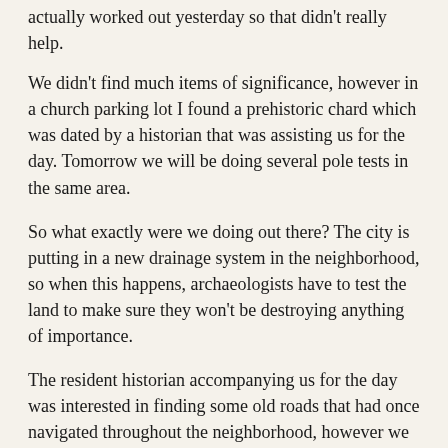actually worked out yesterday so that didn't really help.
We didn't find much items of significance, however in a church parking lot I found a prehistoric chard which was dated by a historian that was assisting us for the day. Tomorrow we will be doing several pole tests in the same area.
So what exactly were we doing out there? The city is putting in a new drainage system in the neighborhood, so when this happens, archaeologists have to test the land to make sure they won't be destroying anything of importance.
The resident historian accompanying us for the day was interested in finding some old roads that had once navigated throughout the neighborhood, however we won't know anything until the road that is running through this area is removed and renovated.
I'll keep you updated on my findings. To answer my own question "what to expect on your first dig", well to be truthful, very sore arms and legs, hunger pangs, and a really good night of sleep after you pass out from being exhausted.